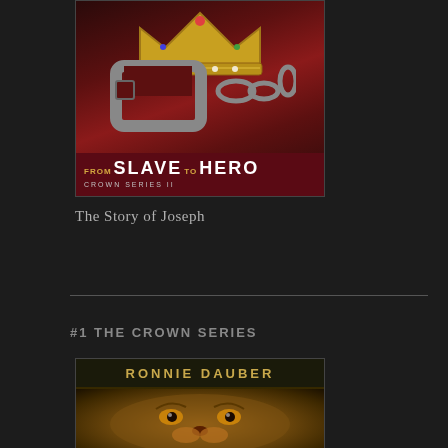[Figure (illustration): Book cover for 'From Slave to Hero, Crown Series II' showing a golden crown above a metal slave shackle with chain, on a dark red draped fabric background. Title text at bottom on dark maroon band.]
The Story of Joseph
#1 THE CROWN SERIES
[Figure (illustration): Book cover for Crown Series #1 by Ronnie Dauber, showing a close-up of a lion's face in warm golden-brown tones on dark background.]